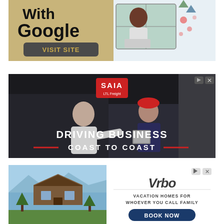[Figure (illustration): Google advertisement with tan/gold left panel showing 'With Google' text in bold black and a 'VISIT SITE' button, and right panel showing illustrated person at a laptop window with colorful decorative elements.]
[Figure (photo): Saia LTL Freight advertisement showing two people exchanging a package/clipboard in a warehouse setting, with text 'DRIVING BUSINESS COAST TO COAST' and Saia logo at top center. Ad controls (play/close) at top right.]
[Figure (photo): Vrbo vacation rental advertisement with left photo of a large wooden mountain house/cabin with trees and mountains behind it. Right side shows Vrbo logo, text 'VACATION HOMES FOR WHOEVER YOU CALL FAMILY' and a dark blue 'BOOK NOW' button. Ad controls at top right.]